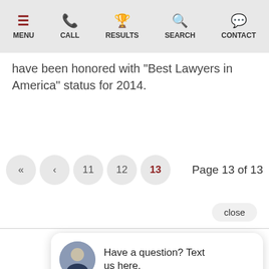MENU | CALL | RESULTS | SEARCH | CONTACT
have been honored with “Best Lawyers in America” status for 2014.
« ‹ 11 12 13   Page 13 of 13
close
Have a question? Text us here.
Reiter & Walsh, P.C.